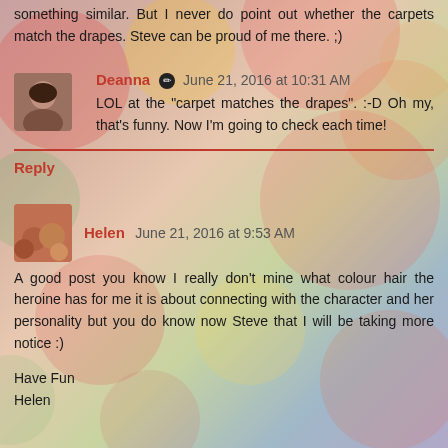something similar. But I never do point out whether the carpets match the drapes. Steve can be proud of me there. ;)
Deanna ✏ June 21, 2016 at 10:31 AM
LOL at the "carpet matches the drapes". :-D Oh my, that's funny. Now I'm going to check each time!
Reply
Helen June 21, 2016 at 9:53 AM
A good post you know I really don't mine what colour hair the heroine has for me it is about connecting with the character and her personality but you do know now Steve that I will be taking more notice :)

Have Fun
Helen